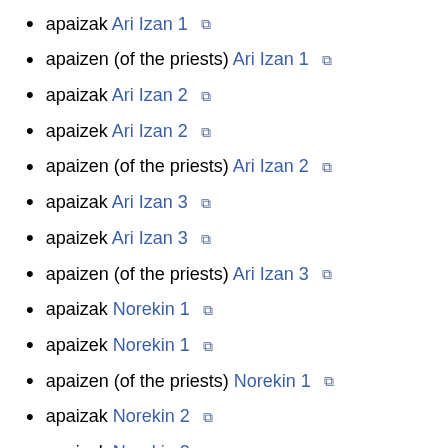apaizak Ari Izan 1 🔗
apaizen (of the priests) Ari Izan 1 🔗
apaizak Ari Izan 2 🔗
apaizek Ari Izan 2 🔗
apaizen (of the priests) Ari Izan 2 🔗
apaizak Ari Izan 3 🔗
apaizek Ari Izan 3 🔗
apaizen (of the priests) Ari Izan 3 🔗
apaizak Norekin 1 🔗
apaizek Norekin 1 🔗
apaizen (of the priests) Norekin 1 🔗
apaizak Norekin 2 🔗
apaizek Norekin 2 🔗
apaizen (of the priests) Norekin 2 🔗
apaizak Verbal Nouns 1 🔗
apaizek Verbal Nouns 1 🔗